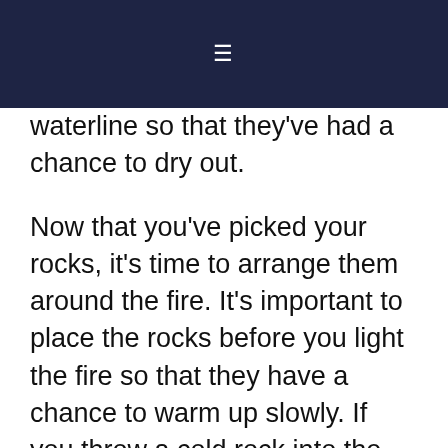☰
waterline so that they've had a chance to dry out.
Now that you've picked your rocks, it's time to arrange them around the fire. It's important to place the rocks before you light the fire so that they have a chance to warm up slowly. If you throw a cold rock into the middle of a raging fire, there's a fair chance that it will explode!
Finally, there a reason why the archetypal campfire is always surrounded by a neat ring or nice round rocks. If a rock has a nice round shape, that's a sign that it's tough. It's probably